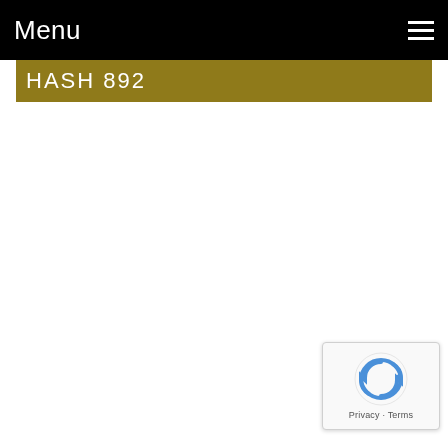Menu
Hash 892
[Figure (logo): reCAPTCHA badge with Google reCAPTCHA logo and Privacy - Terms text]